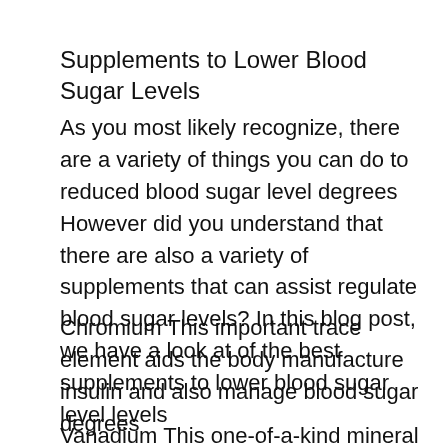Supplements to Lower Blood Sugar Levels
As you most likely recognize, there are a variety of things you can do to reduced blood sugar level degrees However did you understand that there are also a variety of supplements that can assist regulate blood sugar levels? In this blog post, we have a look at of the best supplements to lower blood sugar level levels
Chromium This important trace element aids the body manufacture insulin and also manage blood sugar degrees
Vanadium This one-of-a-kind mineral has